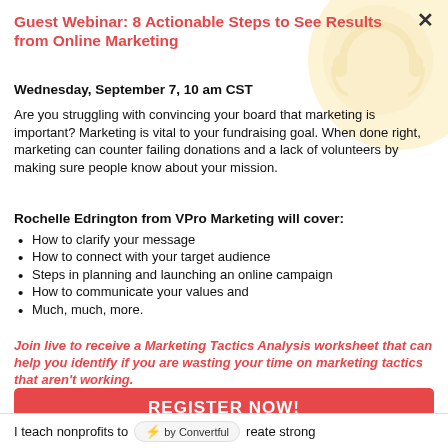Guest Webinar: 8 Actionable Steps to See Results from Online Marketing
Wednesday, September 7, 10 am CST
Are you struggling with convincing your board that marketing is important? Marketing is vital to your fundraising goal. When done right, marketing can counter failing donations and a lack of volunteers by making sure people know about your mission.
Rochelle Edrington from VPro Marketing will cover:
How to clarify your message
How to connect with your target audience
Steps in planning and launching an online campaign
How to communicate your values and
Much, much, more.
Join live to receive a Marketing Tactics Analysis worksheet that can help you identify if you are wasting your time on marketing tactics that aren't working.
REGISTER NOW!
IF YOU CAN NOT ATTEND LIVE A RECORDING WILL BE SENT TO YOU.
I teach nonprofits to   by Convertful   reate strong